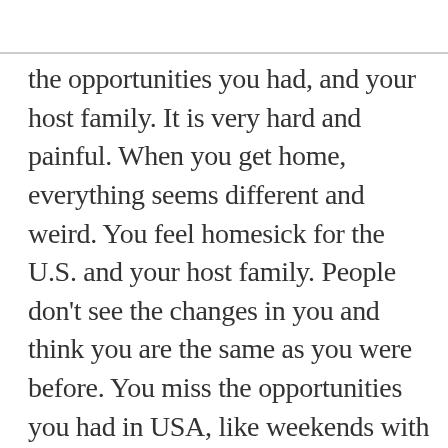the opportunities you had, and your host family. It is very hard and painful. When you get home, everything seems different and weird. You feel homesick for the U.S. and your host family. People don't see the changes in you and think you are the same as you were before. You miss the opportunities you had in USA, like weekends with your host family or friends, extracurricular activities at school, and travels. But, this ending is also a good beginning!

Ffortunately, the program is not over! The program is just beginning. You will be welcomed by the alumni community. I call it my FLEX family